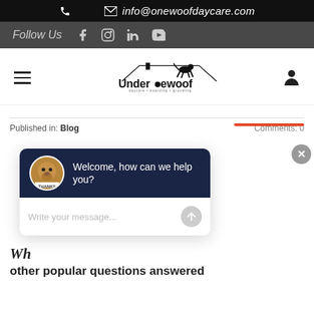📞  ✉ info@onewoofdaycare.com
Follow Us  [Facebook] [Instagram] [LinkedIn] [YouTube]
[Figure (logo): Under One Woof logo with dog silhouette. Text: Underonewoof. Subtext: daycare • boarding • grooming]
Published in: Blog    Comments: 0
[Figure (screenshot): Chat widget popup with dog avatar, message 'Welcome, how can we help you?' and input field 'Write your message...']
Wh
other popular questions answered